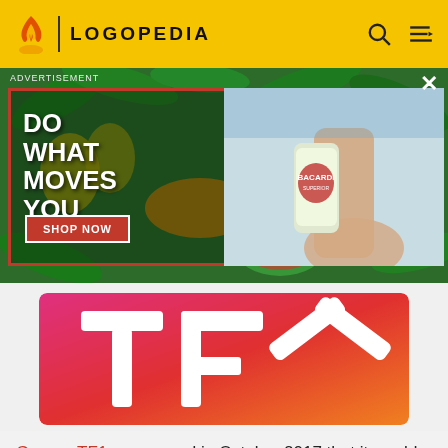LOGOPEDIA
[Figure (photo): Bacardi advertisement with tropical background showing fruits and a bottle of Bacardi rum, with text 'DO WHAT MOVES YOU' and 'SHOP NOW' button on the left, and a hand holding a Bacardi can on the right]
[Figure (logo): TFX channel logo — white letters T, F, X on a pink-to-orange gradient background]
Groupe TF1 announced in October 2017 that it would rebrand NT1 to TFX in early 2018.
Ozap
[Figure (photo): Image placeholder thumbnail]